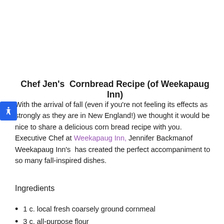Chef Jen's  Cornbread Recipe (of Weekapaug Inn)
With the arrival of fall (even if you're not feeling its effects as strongly as they are in New England!) we thought it would be nice to share a delicious corn bread recipe with you.  Executive Chef at Weekapaug Inn, Jennifer Backmanof Weekapaug Inn's  has created the perfect accompaniment to so many fall-inspired dishes.
Ingredients
1 c. local fresh coarsely ground cornmeal
3 c. all-purpose flour